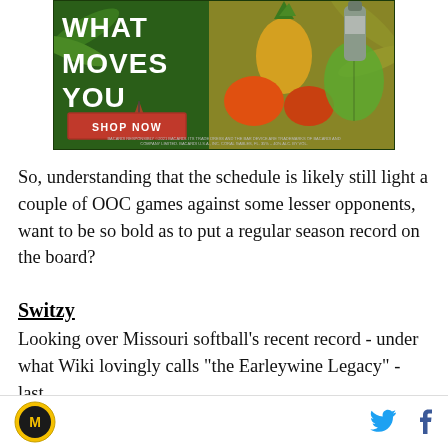[Figure (photo): Advertisement banner with tropical fruits and 'WHAT MOVES YOU' text with a red 'SHOP NOW' button on a green background]
So, understanding that the schedule is likely still light a couple of OOC games against some lesser opponents, want to be so bold as to put a regular season record on the board?
Switzy
Looking over Missouri softball's recent record - under what Wiki lovingly calls "the Earleywine Legacy" - last
Missouri logo | Twitter icon | Facebook icon